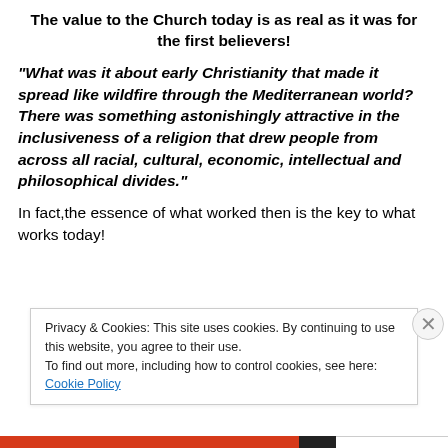The value to the Church today is as real as it was for the first believers!
“What was it about early Christianity that made it spread like wildfire through the Mediterranean world? There was something astonishingly attractive in the inclusiveness of a religion that drew people from across all racial, cultural, economic, intellectual and philosophical divides.”
In fact,the essence of what worked then is the key to what works today!
Privacy & Cookies: This site uses cookies. By continuing to use this website, you agree to their use.
To find out more, including how to control cookies, see here: Cookie Policy